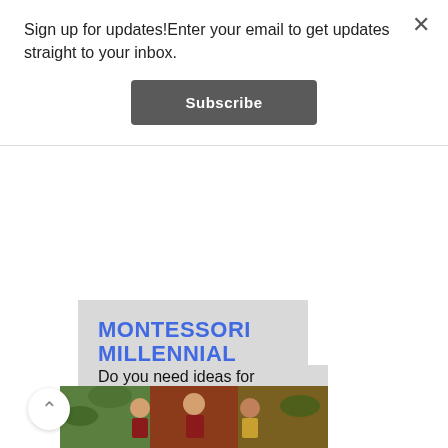Sign up for updates!Enter your email to get updates straight to your inbox.
[Figure (other): Subscribe button - dark grey rounded rectangle with white bold text 'Subscribe']
MONTESSORI MILLENNIAL
Do you need ideas for activities to do with kids? Tried and true suggestions that real moms actually do? Here...
[Figure (photo): Photo showing a family with a child, man in red shirt, woman with sunglasses, surrounded by tropical plants and colorful background]